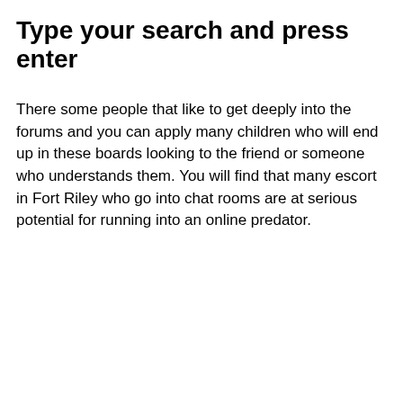Type your search and press enter
There some people that like to get deeply into the forums and you can apply many children who will end up in these boards looking to the friend or someone who understands them. You will find that many escort in Fort Riley who go into chat rooms are at serious potential for running into an online predator.